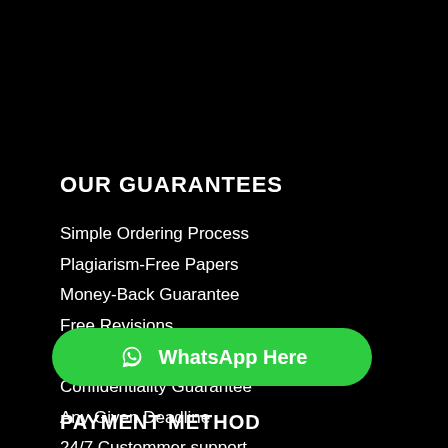OUR GUARANTEES
Simple Ordering Process
Plagiarism-Free Papers
Money-Back Guarantee
Free Revisions
Professional Assistance
Confidentiality Guarantee
Any Given Deadline
24/7 Custommer support
[Figure (other): Green WhatsApp button with icon and text 'WhatsApp Here']
PAYMENT METHOD